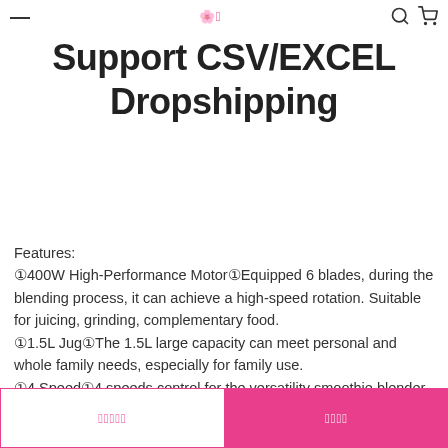— [logo] [search] [cart]
Support CSV/EXCEL Dropshipping
Features:
①400W High-Performance Motor①Equipped 6 blades, during the blending process, it can achieve a high-speed rotation. Suitable for juicing, grinding, complementary food.
①1.5L Jug①The 1.5L large capacity can meet personal and whole family needs, especially for family use.
①4 Speed①4 speeds control for the versatility smoothie blender creations let you easily extract nutrition from